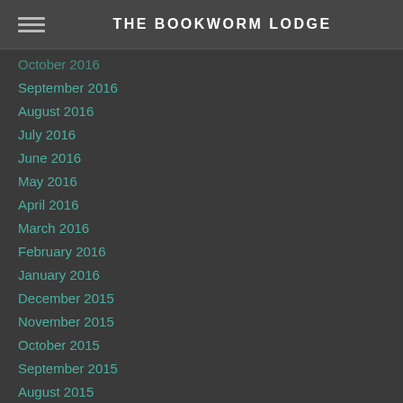THE BOOKWORM LODGE
October 2016
September 2016
August 2016
July 2016
June 2016
May 2016
April 2016
March 2016
February 2016
January 2016
December 2015
November 2015
October 2015
September 2015
August 2015
July 2015
June 2015
May 2015